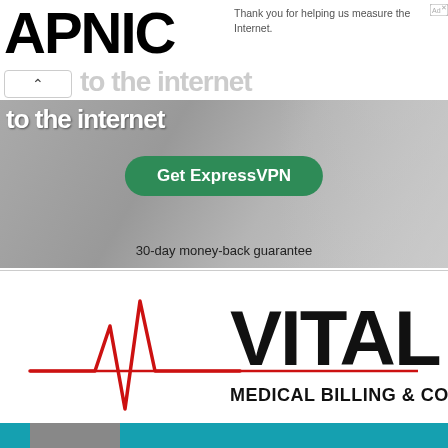[Figure (logo): APNIC logo with large bold black text]
Thank you for helping us measure the Internet.
[Figure (illustration): ExpressVPN advertisement banner showing partial text 'to the internet', green Get ExpressVPN button, and '30-day money-back guarantee' text, with person using laptop in background]
[Figure (logo): Vital Medical Billing & Consulting logo with red heartbeat line graphic and bold black text]
[Figure (illustration): Teal/turquoise advertisement banner partially visible at bottom]